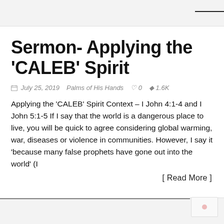Sermon- Applying the ‘CALEB’ Spirit
July 25, 2019   Palms of His Hands   ♡ 0   ◎ 1.6K
Applying the ‘CALEB’ Spirit Context – I John 4:1-4 and I John 5:1-5 If I say that the world is a dangerous place to live, you will be quick to agree considering global warming, war, diseases or violence in communities. However, I say it ‘because many false prophets have gone out into the world’ (I
[ Read More ]